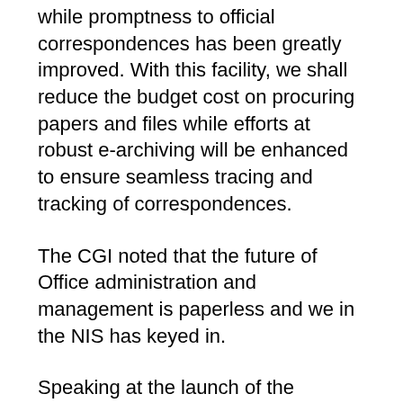while promptness to official correspondences has been greatly improved. With this facility, we shall reduce the budget cost on procuring papers and files while efforts at robust e-archiving will be enhanced to ensure seamless tracing and tracking of correspondences.
The CGI noted that the future of Office administration and management is paperless and we in the NIS has keyed in.
Speaking at the launch of the paperless platform, the Minister of Interior Ogbeni Rauf Aregbesola commended the NIS for being the first agency to unveil the process and called for its expansion to Passport Offices and Border Posts to enhance the quality of service delivery. He thanked the Federal Government for its constant support for all the agencies under the Ministry and assured that more reform efforts shall be embarked upon to improve the quality of service delivery.
Earlier, the Minister had launched a Code of Conduct